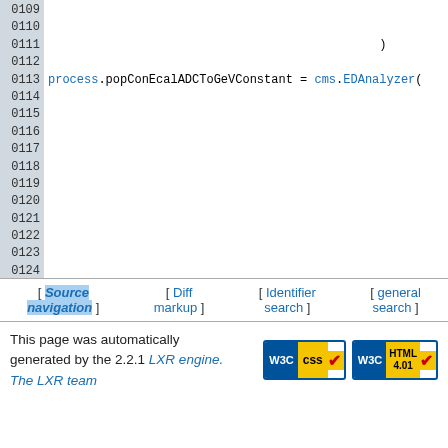Code view lines 0109–0128 showing process.popConEcalADCToGeVConstant = cms.EDAnalyzer(...) and process.p = cms.Path( process.popConEcalADCToGeVCons...
[ Source navigation ] [ Diff markup ] [ Identifier search ] [ general search ]
This page was automatically generated by the 2.2.1 LXR engine. The LXR team